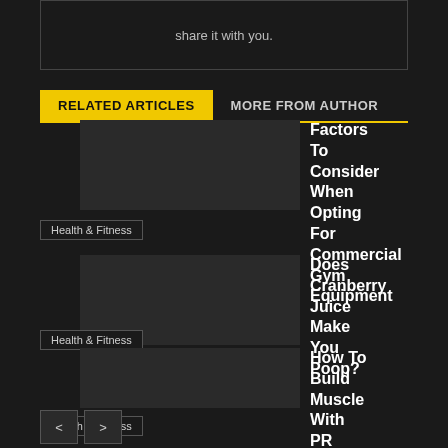share it with you.
RELATED ARTICLES   MORE FROM AUTHOR
Factors To Consider When Opting For Commercial Gym Equipment
Health & Fitness
Does Cranberry Juice Make You Poop?
Health & Fitness
How To Build Muscle With PR Lifting
Health & Fitness